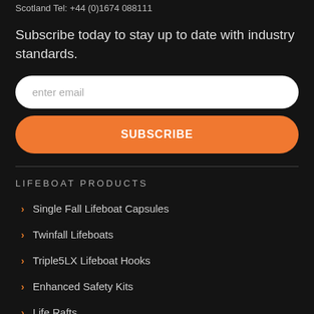Scotland Tel: +44 (0)1674 088111
Subscribe today to stay up to date with industry standards.
[Figure (other): Email input field with placeholder text 'enter email' and an orange SUBSCRIBE button below it]
LIFEBOAT PRODUCTS
Single Fall Lifeboat Capsules
Twinfall Lifeboats
Triple5LX Lifeboat Hooks
Enhanced Safety Kits
Life Rafts